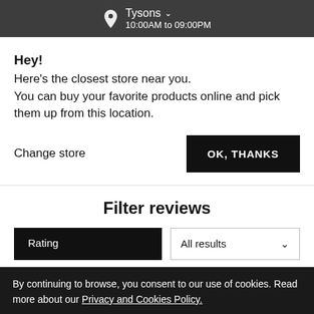Tysons  10:00AM to 09:00PM
Hey!
Here's the closest store near you.
You can buy your favorite products online and pick them up from this location.
Change store
OK, THANKS
Filter reviews
By continuing to browse, you consent to our use of cookies. Read more about our Privacy and Cookies Policy.
LET'S SHOP
Love the smell, hate the consistency